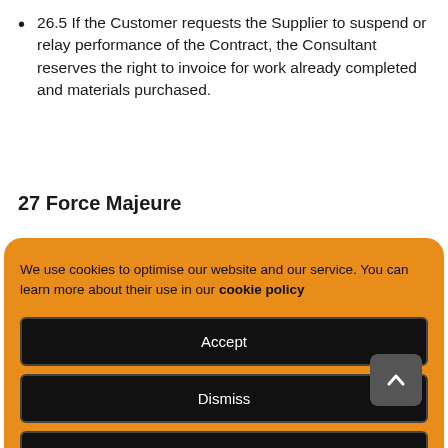26.5 If the Customer requests the Supplier to suspend or relay performance of the Contract, the Consultant reserves the right to invoice for work already completed and materials purchased.
27 Force Majeure
We use cookies to optimise our website and our service. You can learn more about their use in our cookie policy